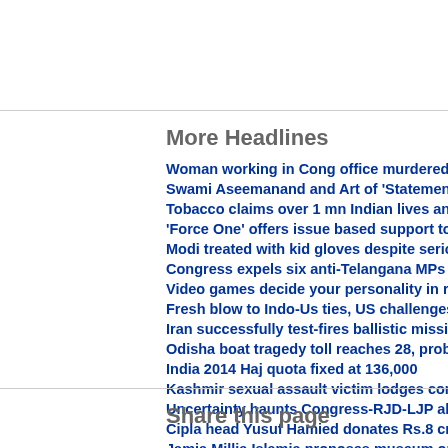More Headlines
Woman working in Cong office murdered, Kerala mi
Swami Aseemanand and Art of 'Statement Withdraw
Tobacco claims over 1 mn Indian lives annually
'Force One' offers issue based support to AAP in Ma
Modi treated with kid gloves despite serious charge
Congress expels six anti-Telangana MPs
Video games decide your personality in real world
Fresh blow to Indo-Us ties, US challenges India's so
Iran successfully test-fires ballistic missile
Odisha boat tragedy toll reaches 28, probe ordered
India 2014 Haj quota fixed at 136,000
Kashmir sexual assault victim lodges complaint aga
Uncertainty haunts Congress-RJD-LJP alliance in B
Cipla head Yusuf Hamied donates Rs.8 crore to pro
Jamia Millia Islamia proposes museum on northeas
Chennai Super Kings face Meiyappan guilty of betti
Music composer Yuvan reverts to Islam, says family
Bank strike over reforms hits services across India
Share this page